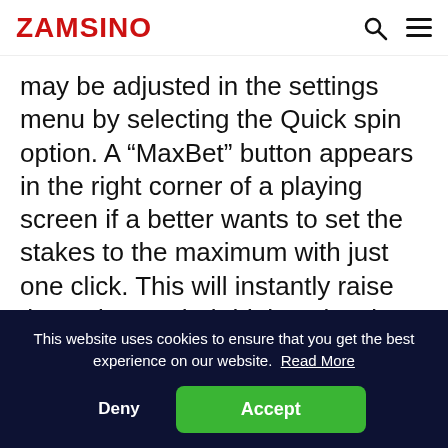ZAMSINO
may be adjusted in the settings menu by selecting the Quick spin option. A “MaxBet” button appears in the right corner of a playing screen if a better wants to set the stakes to the maximum with just one click. This will instantly raise the stakes to their highest level. The main mode panel has an “Autoplay” option. Select the number of
This website uses cookies to ensure that you get the best experience on our website. Read More
Deny
Accept